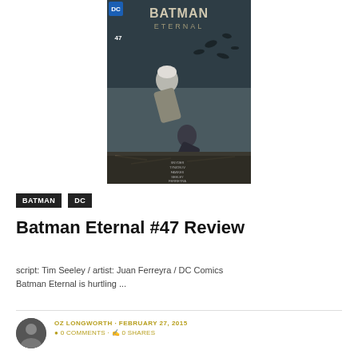[Figure (illustration): Batman Eternal #47 comic book cover showing two figures fighting, with the DC Comics and Batman Eternal logo at top. Issue number 47 visible. Credits: Snyder, Tynion, Fawkes, Ferreyra listed.]
BATMAN
DC
Batman Eternal #47 Review
script: Tim Seeley / artist: Juan Ferreyra / DC Comics Batman Eternal is hurtling ...
OZ LONGWORTH · FEBRUARY 27, 2015
0 COMMENTS · 0 SHARES